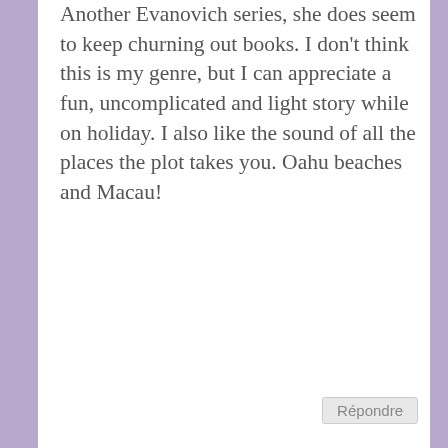Another Evanovich series, she does seem to keep churning out books. I don't think this is my genre, but I can appreciate a fun, uncomplicated and light story while on holiday. I also like the sound of all the places the plot takes you. Oahu beaches and Macau!
Répondre
Melliane says:
21 septembre 2015 at 6 h 30 min
yes so many places, it's fun
Répondre
Lorna says:
21 septembre 2015 at 4 h 00 min